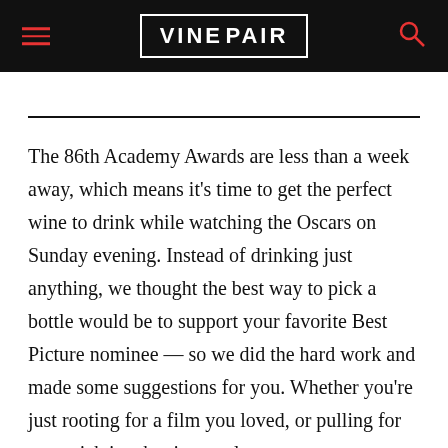VINEPAIR
The 86th Academy Awards are less than a week away, which means it's time to get the perfect wine to drink while watching the Oscars on Sunday evening. Instead of drinking just anything, we thought the best way to pick a bottle would be to support your favorite Best Picture nominee — so we did the hard work and made some suggestions for you. Whether you're just rooting for a film you loved, or pulling for your pick in a betting pool, go